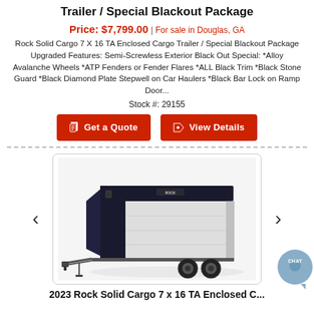Trailer / Special Blackout Package
Price: $7,799.00 | For sale in Douglas, GA
Rock Solid Cargo 7 X 16 TA Enclosed Cargo Trailer / Special Blackout Package Upgraded Features: Semi-Screwless Exterior Black Out Special: *Alloy Avalanche Wheels *ATP Fenders or Fender Flares *ALL Black Trim *Black Stone Guard *Black Diamond Plate Stepwell on Car Haulers *Black Bar Lock on Ramp Door...
Stock #: 29155
[Figure (photo): White and black enclosed cargo trailer with dual axle, shown from a 3/4 front angle with ramp door and alloy wheels]
2023 Rock Solid Cargo 7 x 16 TA Enclosed C...